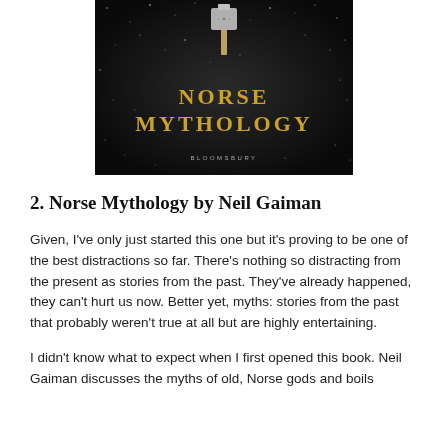[Figure (illustration): Book cover of 'Norse Mythology' by Neil Gaiman, published by Bloomsbury. Dark/black background with sparkle texture, a Mjolnir (Thor's hammer) at the top center, and golden uppercase text reading 'NORSE MYTHOLOGY' with 'BLOOMSBURY' below in smaller text.]
2. Norse Mythology by Neil Gaiman
Given, I've only just started this one but it's proving to be one of the best distractions so far. There's nothing so distracting from the present as stories from the past. They've already happened, they can't hurt us now. Better yet, myths: stories from the past that probably weren't true at all but are highly entertaining.
I didn't know what to expect when I first opened this book. Neil Gaiman discusses the myths of old, Norse gods and boils